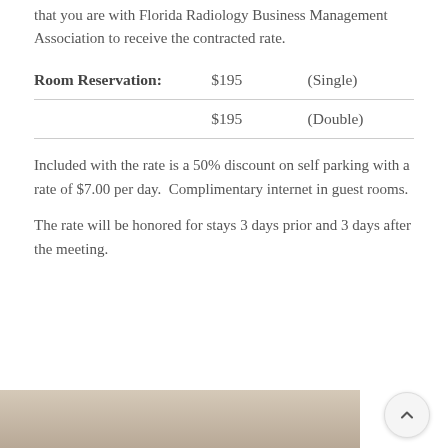that you are with Florida Radiology Business Management Association to receive the contracted rate.
| Room Reservation: | $195 | (Single) |
| --- | --- | --- |
|  | $195 | (Double) |
Included with the rate is a 50% discount on self parking with a rate of $7.00 per day.  Complimentary internet in guest rooms.
The rate will be honored for stays 3 days prior and 3 days after the meeting.
[Figure (photo): Interior photo of a hotel room or lobby area]